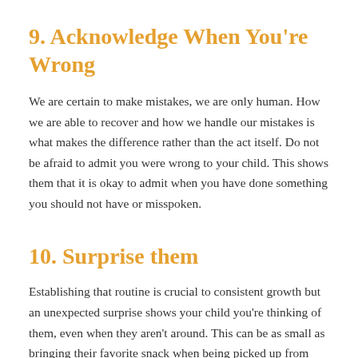9. Acknowledge When You're Wrong
We are certain to make mistakes, we are only human. How we are able to recover and how we handle our mistakes is what makes the difference rather than the act itself. Do not be afraid to admit you were wrong to your child. This shows them that it is okay to admit when you have done something you should not have or misspoken.
10. Surprise them
Establishing that routine is crucial to consistent growth but an unexpected surprise shows your child you're thinking of them, even when they aren't around. This can be as small as bringing their favorite snack when being picked up from school, putting a sweet note in their lunchbox, or bringing